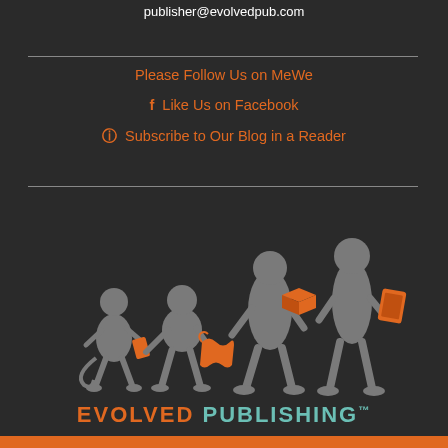publisher@evolvedpub.com
Please Follow Us on MeWe
f  Like Us on Facebook
RSS  Subscribe to Our Blog in a Reader
[Figure (logo): Evolved Publishing logo: silhouettes of primates and humans evolving, carrying increasingly modern reading materials (scroll, books, e-reader), with orange accent items. Text reads EVOLVED PUBLISHING with TM mark.]